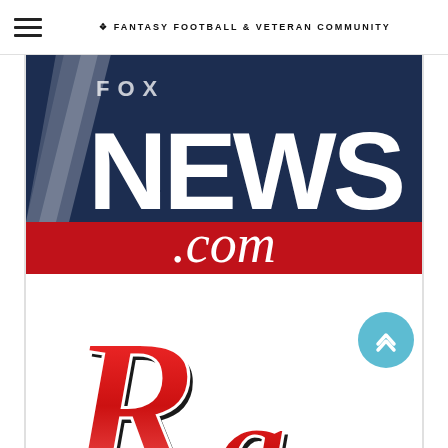FANTASY FOOTBALL & VETERAN COMMUNITY
[Figure (logo): Fox News .com logo — dark navy blue background with large white FOX NEWS text and slanted slash graphic, red bar beneath with white italic .com text]
[Figure (logo): Stylized red and black script letter 'Ra' logo with decorative serif styling and white outline, partially cropped]